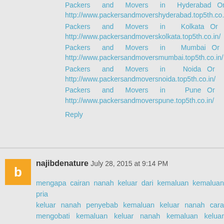Packers and Movers in Hyderabad Or http://www.packersandmovershyderabad.top5th.co.in/
Packers and Movers in Kolkata Or http://www.packersandmoverskolkata.top5th.co.in/
Packers and Movers in Mumbai Or http://www.packersandmoversmumbai.top5th.co.in/
Packers and Movers in Noida Or http://www.packersandmoversnoida.top5th.co.in/
Packers and Movers in Pune Or http://www.packersandmoverspune.top5th.co.in/
Reply
najibdenature July 28, 2015 at 9:14 PM
mengapa cairan nanah keluar dari kemaluan kemaluan pria keluar nanah penyebab kemaluan keluar nanah cara mengobati kemaluan keluar nanah kemaluan keluar nanah di sertai perih saat kencing mengobati kemaluan keluar nanah pada pria mengobati kemaluan keluar cairan nanah pada pria mengobati kelamin keluar nanah mengobati kemaluan pria yang keluar nanah nanah keluar dari kemaluan cairan nanah keluar dari kemaluan obat cairan